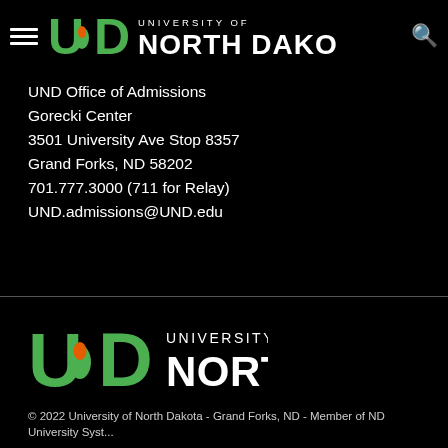University of North Dakota
UND Office of Admissions
Gorecki Center
3501 University Ave Stop 8357
Grand Forks, ND 58202
701.777.3000 (711 for Relay)
UND.admissions@UND.edu
[Figure (logo): University of North Dakota logo in footer]
© 2022 University of North Dakota - Grand Forks, ND - Member of ND University Syst...